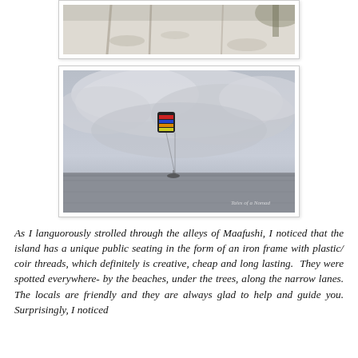[Figure (photo): Top portion of a beach scene with white sand, tree shadows visible, partial crop of photo.]
[Figure (photo): Kitesurfer on the ocean under a cloudy sky, with a colorful kite in the air. Watermark reads 'Tales of a Nomad'.]
As I languorously strolled through the alleys of Maafushi, I noticed that the island has a unique public seating in the form of an iron frame with plastic/ coir threads, which definitely is creative, cheap and long lasting.  They were spotted everywhere- by the beaches, under the trees, along the narrow lanes. The locals are friendly and they are always glad to help and guide you. Surprisingly, I noticed